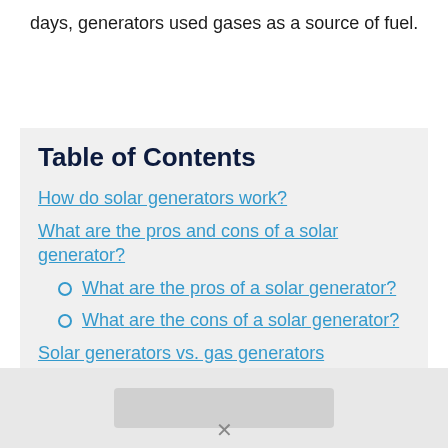days, generators used gases as a source of fuel.
Table of Contents
How do solar generators work?
What are the pros and cons of a solar generator?
What are the pros of a solar generator?
What are the cons of a solar generator?
Solar generators vs. gas generators
What is a gas generator?
What can you run on a solar generator?